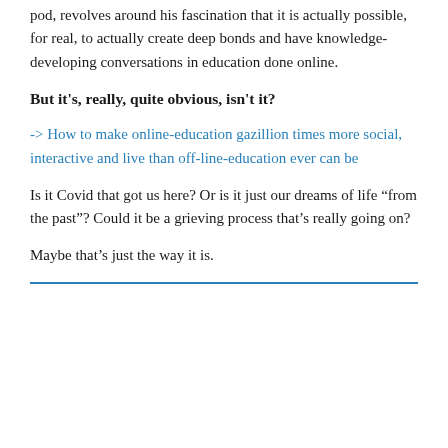pod, revolves around his fascination that it is actually possible, for real, to actually create deep bonds and have knowledge-developing conversations in education done online.
But it’s, really, quite obvious, isn’t it?
-> How to make online-education gazillion times more social, interactive and live than off-line-education ever can be
Is it Covid that got us here? Or is it just our dreams of life “from the past”? Could it be a grieving process that’s really going on?
Maybe that’s just the way it is.